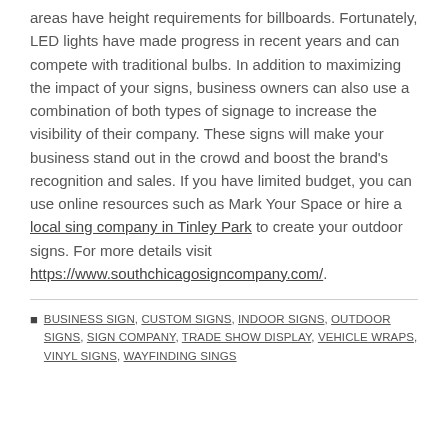areas have height requirements for billboards. Fortunately, LED lights have made progress in recent years and can compete with traditional bulbs. In addition to maximizing the impact of your signs, business owners can also use a combination of both types of signage to increase the visibility of their company. These signs will make your business stand out in the crowd and boost the brand's recognition and sales. If you have limited budget, you can use online resources such as Mark Your Space or hire a local sing company in Tinley Park to create your outdoor signs. For more details visit https://www.southchicagosigncompany.com/.
BUSINESS SIGN, CUSTOM SIGNS, INDOOR SIGNS, OUTDOOR SIGNS, SIGN COMPANY, TRADE SHOW DISPLAY, VEHICLE WRAPS, VINYL SIGNS, WAYFINDING SINGS